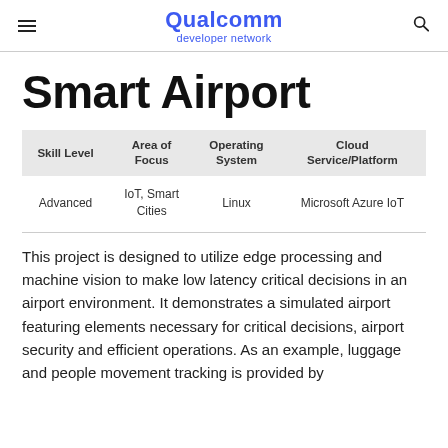Qualcomm developer network
Smart Airport
| Skill Level | Area of Focus | Operating System | Cloud Service/Platform |
| --- | --- | --- | --- |
| Advanced | IoT, Smart Cities | Linux | Microsoft Azure IoT |
This project is designed to utilize edge processing and machine vision to make low latency critical decisions in an airport environment. It demonstrates a simulated airport featuring elements necessary for critical decisions, airport security and efficient operations. As an example, luggage and people movement tracking is provided by